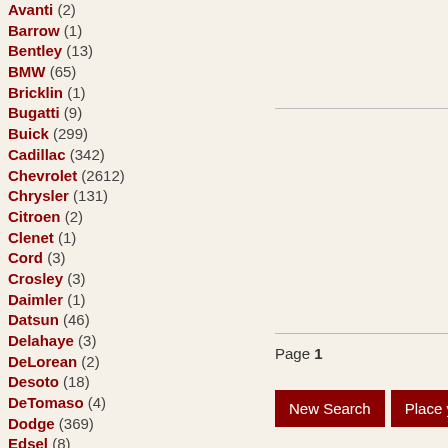Avanti (2)
Barrow (1)
Bentley (13)
BMW (65)
Bricklin (1)
Bugatti (9)
Buick (299)
Cadillac (342)
Chevrolet (2612)
Chrysler (131)
Citroen (2)
Clenet (1)
Cord (3)
Crosley (3)
Daimler (1)
Datsun (46)
Delahaye (3)
DeLorean (2)
Desoto (18)
DeTomaso (4)
Dodge (369)
Edsel (8)
Essex (4)
Excalibur (2)
Page 1
New Search
Place your